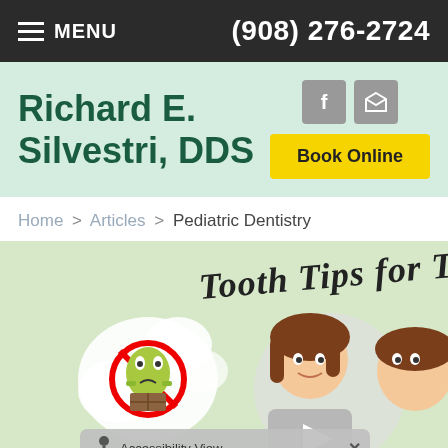MENU  (908) 276-2724
Richard E. Silvestri, DDS
Book Online
Home > Articles > Pediatric Dentistry
[Figure (illustration): Cartoon illustration for 'Tooth Tips for Tots' showing a child with a thought bubble containing a green germ character in a no sign, and animated cartoon children characters. A video play button overlay and accessibility view bar are visible at the bottom.]